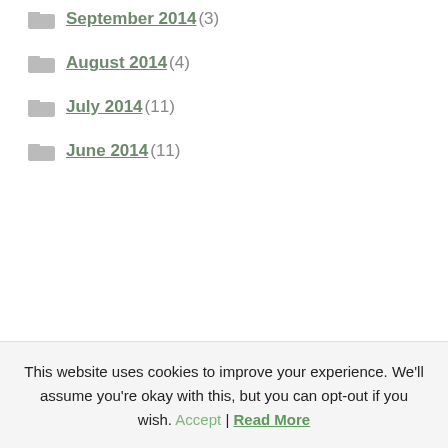September 2014 (3)
August 2014 (4)
July 2014 (11)
June 2014 (11)
This website uses cookies to improve your experience. We'll assume you're okay with this, but you can opt-out if you wish. Accept | Read More